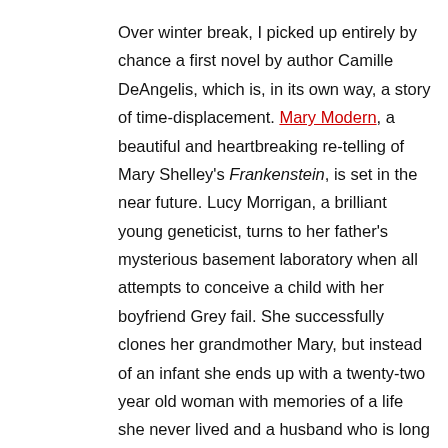Over winter break, I picked up entirely by chance a first novel by author Camille DeAngelis, which is, in its own way, a story of time-displacement. Mary Modern, a beautiful and heartbreaking re-telling of Mary Shelley's Frankenstein, is set in the near future. Lucy Morrigan, a brilliant young geneticist, turns to her father's mysterious basement laboratory when all attempts to conceive a child with her boyfriend Grey fail. She successfully clones her grandmother Mary, but instead of an infant she ends up with a twenty-two year old woman with memories of a life she never lived and a husband who is long dead.
It is Lucy's irrevocable actions that drive the narrative forward, but it is Mary's voice and strength of character that capture our attention as she wrestles with the unutterable solitude of her existence and the question of how to move forward into an unknown future.